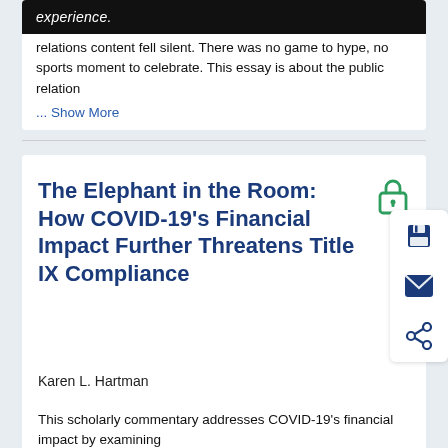experience.
relations content fell silent. There was no game to hype, no sports moment to celebrate. This essay is about the public relation
... Show More
The Elephant in the Room: How COVID-19’s Financial Impact Further Threatens Title IX Compliance
Karen L. Hartman
This scholarly commentary addresses COVID-19’s financial impact by examining